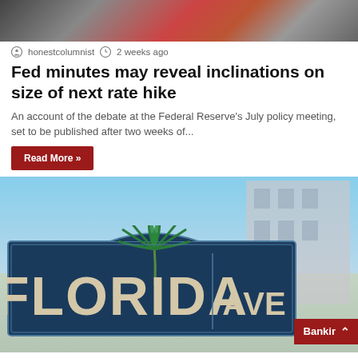[Figure (photo): Partial top image showing a crowd/scene, cropped at the top of the page]
honestcolumnist  2 weeks ago
Fed minutes may reveal inclinations on size of next rate hike
An account of the debate at the Federal Reserve's July policy meeting, set to be published after two weeks of...
Read More »
[Figure (photo): Florida Avenue street sign, blue sign with palm tree logo, set against blurred building background]
Bankir
honestcolumnist  2 weeks ago